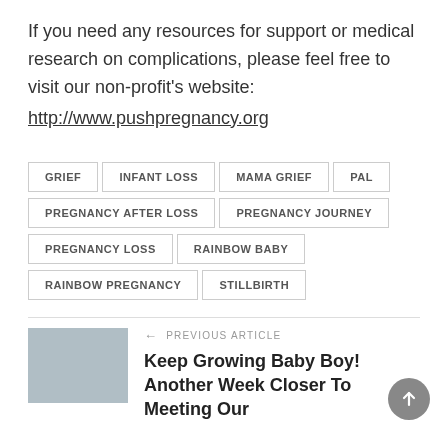If you need any resources for support or medical research on complications, please feel free to visit our non-profit's website: http://www.pushpregnancy.org
GRIEF
INFANT LOSS
MAMA GRIEF
PAL
PREGNANCY AFTER LOSS
PREGNANCY JOURNEY
PREGNANCY LOSS
RAINBOW BABY
RAINBOW PREGNANCY
STILLBIRTH
← PREVIOUS ARTICLE
Keep Growing Baby Boy! Another Week Closer To Meeting Our